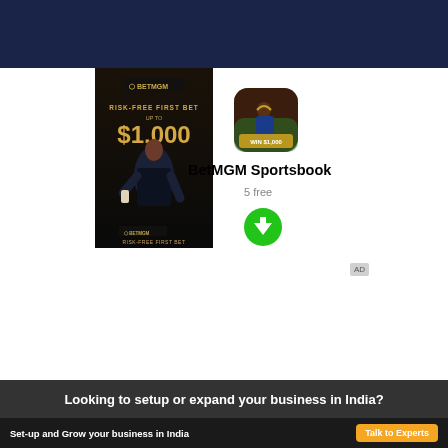[Figure (photo): BetMGM advertisement showing a man in a suit holding a phone, with text 'RISK-FREE FIRST BET UP TO $1,000' and BetMGM logo]
[Figure (photo): BetMGM Sportsbook app icon showing a football player]
BetMGM Sportsbook
5 free
[Figure (other): Green circular download button with down arrow]
AD
Looking to setup or expand your business in India?
Set-up and Grow your business in India
Talk to Experts